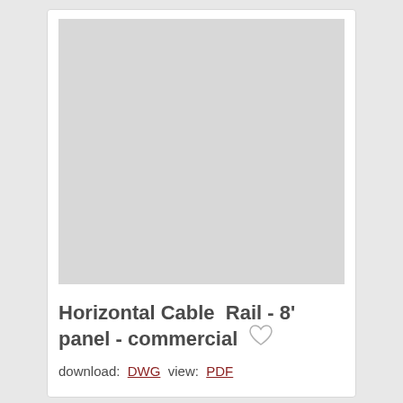[Figure (other): Gray placeholder image area for product drawing]
Horizontal Cable Rail - 8' panel - commercial
download: DWG  view: PDF